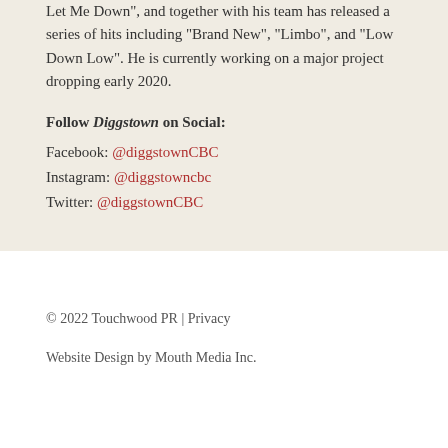Let Me Down", and together with his team has released a series of hits including “Brand New”, “Limbo”, and “Low Down Low”. He is currently working on a major project dropping early 2020.
Follow Diggstown on Social: Facebook: @diggstownCBC Instagram: @diggstowncbc Twitter: @diggstownCBC
© 2022 Touchwood PR | Privacy
Website Design by Mouth Media Inc.